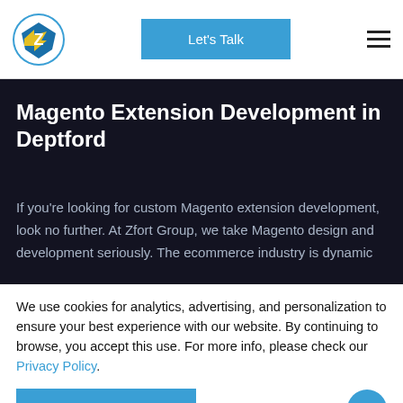[Figure (logo): Zfort Group logo - blue and yellow circular emblem with letter Z]
Let's Talk
Magento Extension Development in Deptford
If you're looking for custom Magento extension development, look no further. At Zfort Group, we take Magento design and development seriously. The ecommerce industry is dynamic
We use cookies for analytics, advertising, and personalization to ensure your best experience with our website. By continuing to browse, you accept this use. For more info, please check our Privacy Policy.
Agree